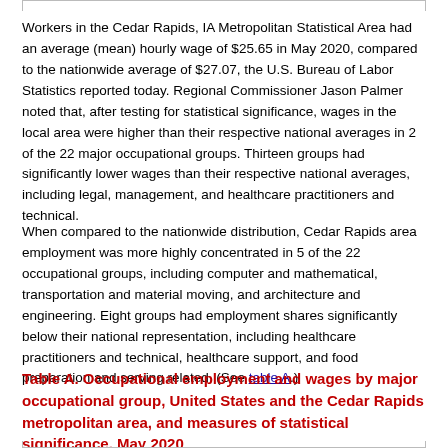Workers in the Cedar Rapids, IA Metropolitan Statistical Area had an average (mean) hourly wage of $25.65 in May 2020, compared to the nationwide average of $27.07, the U.S. Bureau of Labor Statistics reported today. Regional Commissioner Jason Palmer noted that, after testing for statistical significance, wages in the local area were higher than their respective national averages in 2 of the 22 major occupational groups. Thirteen groups had significantly lower wages than their respective national averages, including legal, management, and healthcare practitioners and technical.
When compared to the nationwide distribution, Cedar Rapids area employment was more highly concentrated in 5 of the 22 occupational groups, including computer and mathematical, transportation and material moving, and architecture and engineering. Eight groups had employment shares significantly below their national representation, including healthcare practitioners and technical, healthcare support, and food preparation and serving related. (See table A.)
Table A. Occupational employment and wages by major occupational group, United States and the Cedar Rapids metropolitan area, and measures of statistical significance, May 2020